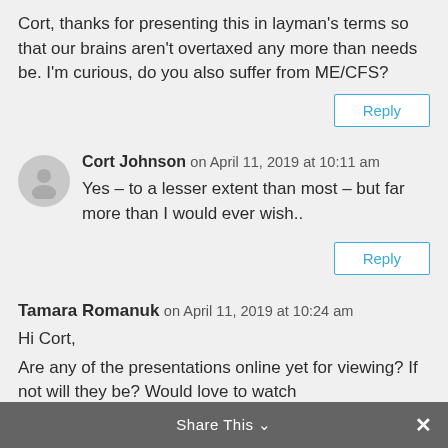Cort, thanks for presenting this in layman's terms so that our brains aren't overtaxed any more than needs be. I'm curious, do you also suffer from ME/CFS?
Reply
Cort Johnson on April 11, 2019 at 10:11 am
Yes – to a lesser extent than most – but far more than I would ever wish..
Reply
Tamara Romanuk on April 11, 2019 at 10:24 am
Hi Cort,
Are any of the presentations online yet for viewing? If not will they be? Would love to watch
Share This ×